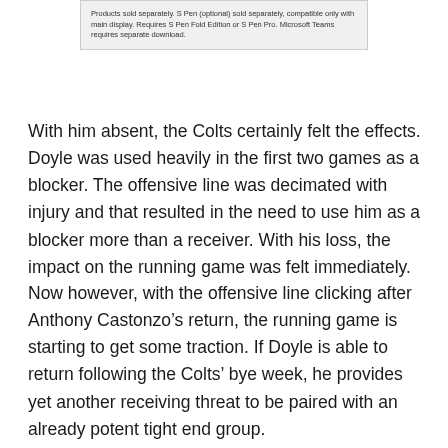Products sold separately. S Pen (optional) sold separately, compatible only with main display. Requires S Pen Fold Edition or S Pen Pro. Microsoft Teams requires separate download.
With him absent, the Colts certainly felt the effects. Doyle was used heavily in the first two games as a blocker. The offensive line was decimated with injury and that resulted in the need to use him as a blocker more than a receiver. With his loss, the impact on the running game was felt immediately.
Now however, with the offensive line clicking after Anthony Castonzo’s return, the running game is starting to get some traction. If Doyle is able to return following the Colts’ bye week, he provides yet another receiving threat to be paired with an already potent tight end group.